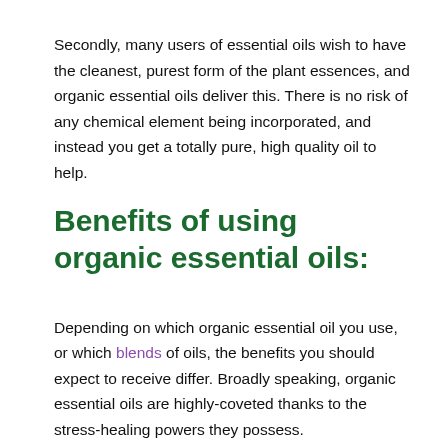Secondly, many users of essential oils wish to have the cleanest, purest form of the plant essences, and organic essential oils deliver this. There is no risk of any chemical element being incorporated, and instead you get a totally pure, high quality oil to help.
Benefits of using organic essential oils:
Depending on which organic essential oil you use, or which blends of oils, the benefits you should expect to receive differ. Broadly speaking, organic essential oils are highly-coveted thanks to the stress-healing powers they possess.
Stress has been proven to be one of the biggest factors in many